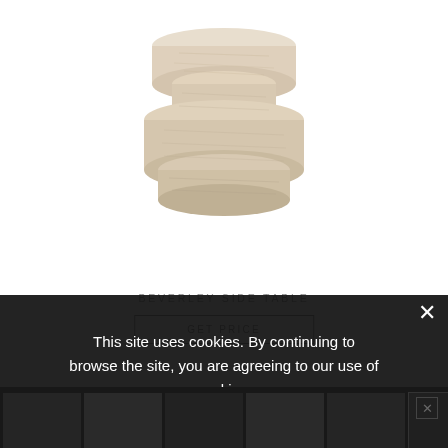[Figure (photo): A cylindrical wooden side table with a bobbin/spool shape — three stacked disc-like sections in a light travertine/natural wood tone, photographed against a white background.]
BEVERLEY SIDE TABLE
GET PRICE
This site uses cookies. By continuing to browse the site, you are agreeing to our use of cookies.
AGREE
[Figure (screenshot): Dark thumbnail strip at the bottom showing multiple small product images partially obscured by the cookie overlay.]